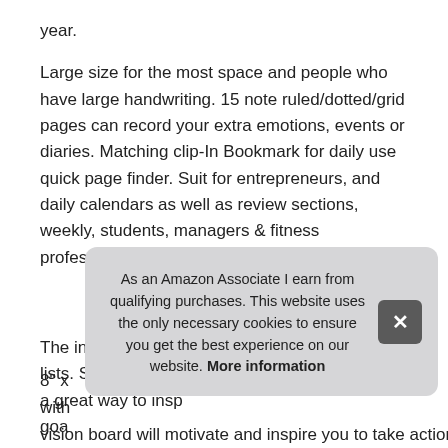year.
Large size for the most space and people who have large handwriting. 15 note ruled/dotted/grid pages can record your extra emotions, events or diaries. Matching clip-In Bookmark for daily use quick page finder. Suit for entrepreneurs, and daily calendars as well as review sections, weekly, students, managers & fitness professionals.
More information #ad
The interior pocket for storing receipts, notes or lists. Structure your life: this all-in-one planner is a great way to insp[ire you to stay ahead of your schedule,] goa[ls and]
8" x [... ] with[...]
As an Amazon Associate I earn from qualifying purchases. This website uses the only necessary cookies to ensure you get the best experience on our website. More information
vision board will motivate and inspire you to take action every